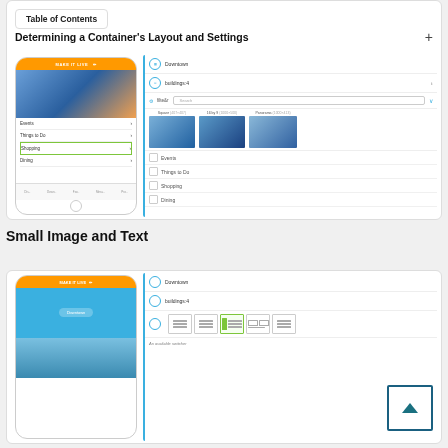Table of Contents
Determining a Container's Layout and Settings
[Figure (screenshot): Screenshot showing a mobile app mockup on the left with a list (Events, Things to Do, Shopping, Dining) and an editor panel on the right showing image layout options (Square, 16 by 9, Panorama) with thumbnail previews and a list of items (Events, Things to Do, Shopping, Dining) below.]
Small Image and Text
[Figure (screenshot): Screenshot showing a mobile app mockup on the left with a teal Downtown screen and beach image, and an editor panel on the right showing layout icon options with one selected (highlighted in green), a note about an available switcher, and a scroll-up button overlay in the corner.]